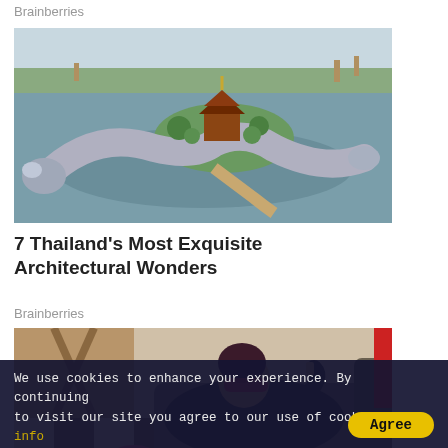Brainberries
[Figure (photo): Aerial view of a Thai temple on an island surrounded by a large ornamental fish/serpent sculpture in a lake, with greenery and trees in the background.]
7 Thailand's Most Exquisite Architectural Wonders
Brainberries
[Figure (photo): A woman with sunglasses and dark hair wearing a leather jacket, reclining on a couch, in a stylish interior with checkered floor.]
We use cookies to enhance your experience. By continuing to visit our site you agree to our use of cookies. More info